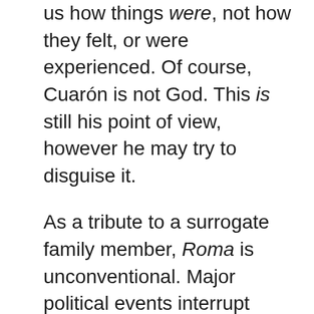us how things were, not how they felt, or were experienced. Of course, Cuarón is not God. This is still his point of view, however he may try to disguise it.
As a tribute to a surrogate family member, Roma is unconventional. Major political events interrupt Cleo's narrative, putting us at a distinct point in Mexican history. In long, quiet takes, Cuarón calls attention to details we might otherwise overlook — planes flying overhead, hours of labor taken for granted. Most shots are wide — we rarely get a closeup. Yalitza Aparacio is an inexperienced actress, with only a handful of emotive moments. She's terrifically authentic, which the role